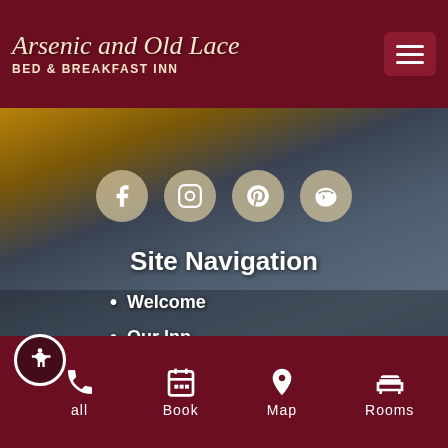Arsenic and Old Lace Bed & Breakfast Inn
[Figure (screenshot): Website screenshot showing the Arsenic and Old Lace Bed & Breakfast Inn mobile website with a photo of a Victorian-style inn exterior, social media icons, site navigation menu, and a bottom navigation bar.]
Site Navigation
Welcome
Our Inn
Guest Rooms
Our Area
Call  Book  Map  Rooms